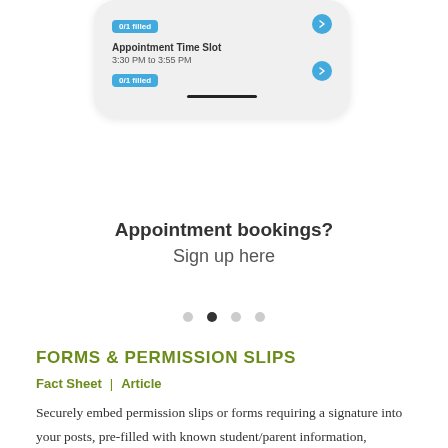[Figure (screenshot): Mobile phone screenshot showing appointment time slot booking UI with '0/1 filled' badges and blue arrow buttons]
Appointment bookings?
Sign up here
[Figure (infographic): Carousel navigation dots: four dots, second one active/filled]
FORMS & PERMISSION SLIPS
Fact Sheet  |  Article
Securely embed permission slips or forms requiring a signature into your posts, pre-filled with known student/parent information, translated to parents' preferred languages, to save time and ensure accuracy.